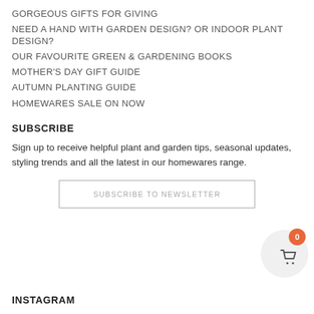GORGEOUS GIFTS FOR GIVING
NEED A HAND WITH GARDEN DESIGN? OR INDOOR PLANT DESIGN?
OUR FAVOURITE GREEN & GARDENING BOOKS
MOTHER'S DAY GIFT GUIDE
AUTUMN PLANTING GUIDE
HOMEWARES SALE ON NOW
SUBSCRIBE
Sign up to receive helpful plant and garden tips, seasonal updates, styling trends and all the latest in our homewares range.
SUBSCRIBE TO NEWSLETTER
INSTAGRAM